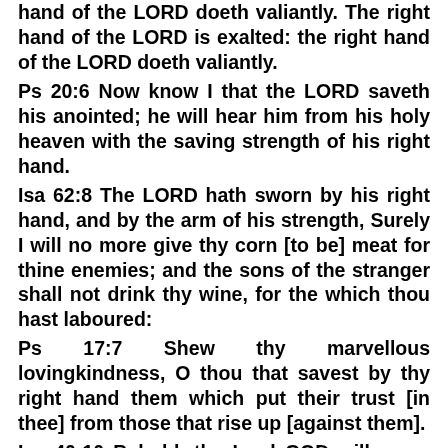hand of the LORD doeth valiantly. The right hand of the LORD is exalted: the right hand of the LORD doeth valiantly.
Ps 20:6 Now know I that the LORD saveth his anointed; he will hear him from his holy heaven with the saving strength of his right hand.
Isa 62:8 The LORD hath sworn by his right hand, and by the arm of his strength, Surely I will no more give thy corn [to be] meat for thine enemies; and the sons of the stranger shall not drink thy wine, for the which thou hast laboured:
Ps 17:7 Shew thy marvellous lovingkindness, O thou that savest by thy right hand them which put their trust [in thee] from those that rise up [against them].
Isa 40:10 Behold, the Lord GOD will come with strong [hand], and his arm shall rule for him: